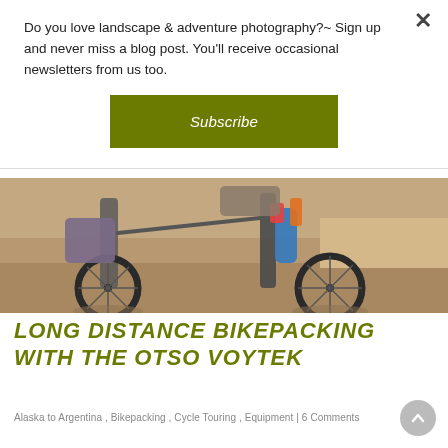Do you love landscape & adventure photography?~ Sign up and never miss a blog post. You'll receive occasional newsletters from us too.
Subscribe
[Figure (photo): Close-up photo of two loaded bikepacking bikes standing on sandy/dusty ground, showing wheels, tires, and frame bags with water bottles and gear attached.]
LONG DISTANCE BIKEPACKING WITH THE OTSO VOYTEK
Alaska to Argentina , Bikepacking , Cycle Touring , Equipment | 6 Comments